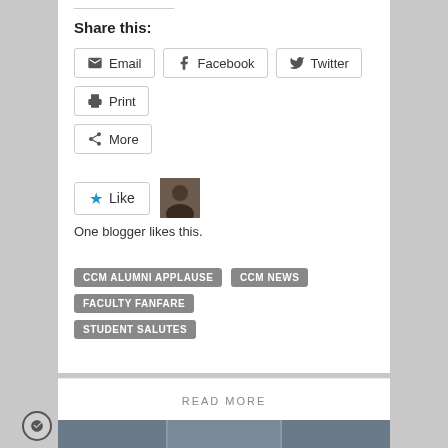Share this:
Email
Facebook
Twitter
Print
More
[Figure (other): Like button widget with star icon and blogger avatar thumbnail. Text: One blogger likes this.]
One blogger likes this.
CCM ALUMNI APPLAUSE
CCM NEWS
FACULTY FANFARE
STUDENT SALUTES
READ MORE
[Figure (photo): Group photo of students with hands raised at what appears to be a Junior blogging or academic event, with banner in background.]